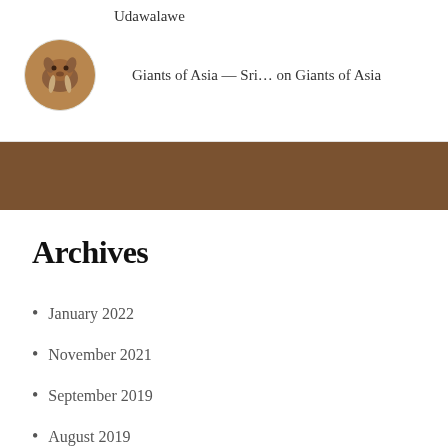Udawalawe
Giants of Asia — Sri… on Giants of Asia
Archives
January 2022
November 2021
September 2019
August 2019
July 2019
June 2018